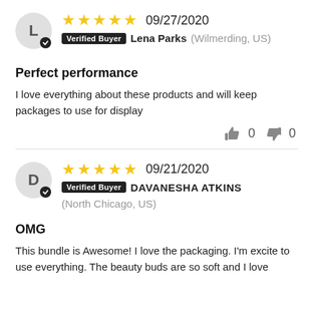L — avatar initial, Verified Buyer, Lena Parks (Wilmerding, US), 09/27/2020, 5 stars
Perfect performance
I love everything about these products and will keep packages to use for display
thumbs up 0  thumbs down 0
D — avatar initial, Verified Buyer, DAVANESHA ATKINS (North Chicago, US), 09/21/2020, 5 stars
OMG
This bundle is Awesome! I love the packaging. I'm excite to use everything. The beauty buds are so soft and I love